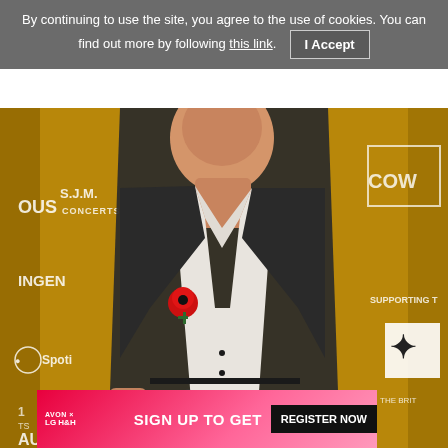By continuing to use the site, you agree to the use of cookies. You can find out more by following this link. I Accept
[Figure (photo): A man wearing a dark suit jacket with an open white shirt and a red poppy on his lapel, standing in front of a golden event backdrop with logos including S.J.M. Concerts, Ingenious, Spotify, PPL, and Simon Cowell branding.]
[Figure (screenshot): Advertisement banner for Avon x LG H&H with text 'SIGN UP TO GET' and a 'REGISTER NOW' button on a pink/red background, with a play button and close (X) button.]